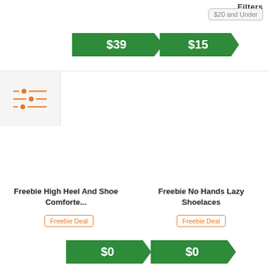Filters
$20 and Under
[Figure (infographic): Green price tag arrow showing $39]
[Figure (infographic): Green price tag arrow showing $15]
[Figure (infographic): Orange filter/sliders icon]
Freebie High Heel And Shoe Comforte...
Freebie No Hands Lazy Shoelaces
Freebie Deal
Freebie Deal
[Figure (infographic): Green price tag arrow showing $0]
[Figure (infographic): Green price tag arrow showing $0]